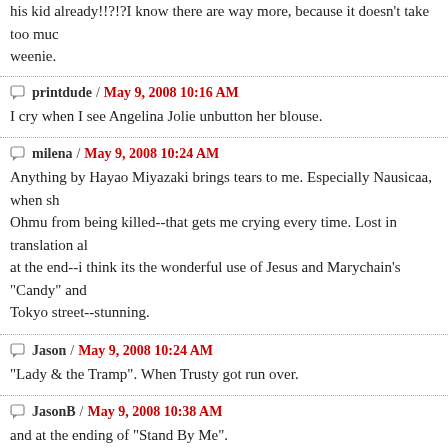his kid already!!?!?I know there are way more, because it doesn't take too much weenie.
printdude / May 9, 2008 10:16 AM
I cry when I see Angelina Jolie unbutton her blouse.
milena / May 9, 2008 10:24 AM
Anything by Hayao Miyazaki brings tears to me. Especially Nausicaa, when she stops the Ohmu from being killed--that gets me crying every time. Lost in translation also at the end--i think its the wonderful use of Jesus and Marychain's "Candy" and Tokyo street--stunning.
Jason / May 9, 2008 10:24 AM
"Lady & the Tramp". When Trusty got run over.
JasonB / May 9, 2008 10:38 AM
and at the ending of "Stand By Me".